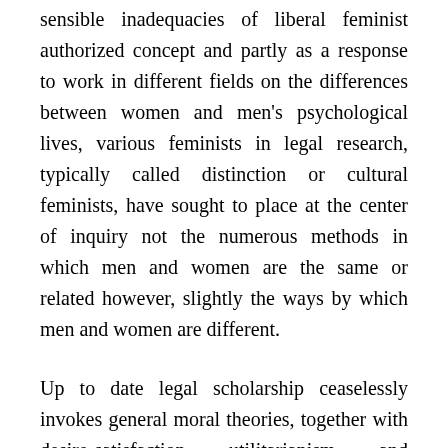sensible inadequacies of liberal feminist authorized concept and partly as a response to work in different fields on the differences between women and men's psychological lives, various feminists in legal research, typically called distinction or cultural feminists, have sought to place at the center of inquiry not the numerous methods in which men and women are the same or related however, slightly the ways by which men and women are different.
Up to date legal scholarship ceaselessly invokes general moral theories, together with desire-satisfaction utilitarianism and deontological theories like Kant's, to make arguments about what the legislation ought to be. Such normative legal theories are addressed to